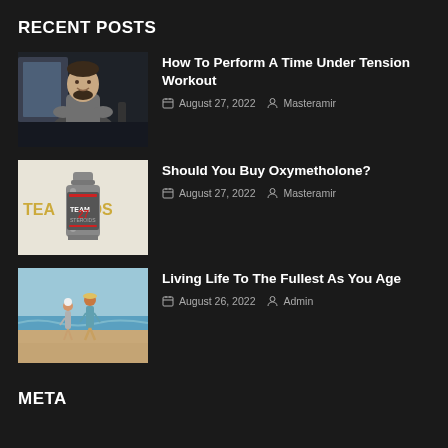RECENT POSTS
[Figure (photo): Man in gray t-shirt sitting in a gym with arms crossed, smiling]
How To Perform A Time Under Tension Workout
August 27, 2022  Masteramir
[Figure (photo): Supplement bottle labeled with partial text TEAMSTEROIDS on a light background]
Should You Buy Oxymetholone?
August 27, 2022  Masteramir
[Figure (photo): Two people walking on a beach, one elderly and one child, by the ocean]
Living Life To The Fullest As You Age
August 26, 2022  Admin
META